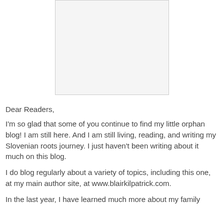[Figure (photo): A white/blank image placeholder area centered in the upper portion of the page]
Dear Readers,
I'm so glad that some of you continue to find my little orphan blog! I am still here. And I am still living, reading, and writing my Slovenian roots journey. I just haven't been writing about it much on this blog.
I do blog regularly about a variety of topics, including this one, at my main author site, at www.blairkilpatrick.com.
In the last year, I have learned much more about my family